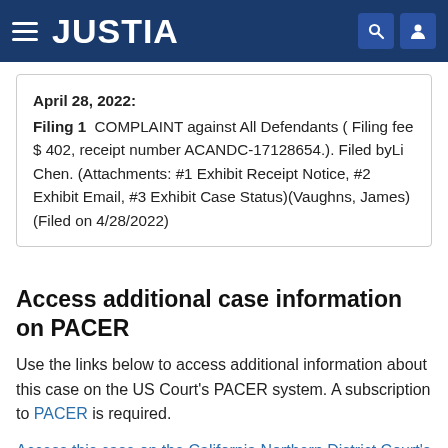JUSTIA
April 28, 2022: Filing 1 COMPLAINT against All Defendants ( Filing fee $ 402, receipt number ACANDC-17128654.). Filed byLi Chen. (Attachments: #1 Exhibit Receipt Notice, #2 Exhibit Email, #3 Exhibit Case Status)(Vaughns, James) (Filed on 4/28/2022)
Access additional case information on PACER
Use the links below to access additional information about this case on the US Court's PACER system. A subscription to PACER is required.
Access this case on the California Northern District Court's Electronic Court Filings (ECF) System